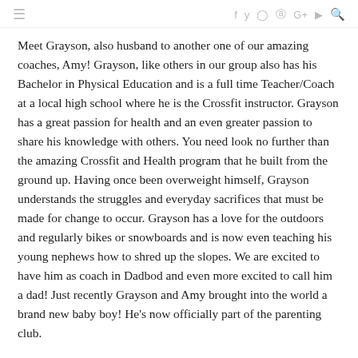≡  f  y  ◎  ⊕  G+  ▶  🔍
Meet Grayson, also husband to another one of our amazing coaches, Amy!  Grayson, like others in our group also has his Bachelor in Physical Education and is a full time Teacher/Coach at a local high school where he is the Crossfit instructor.  Grayson has a great passion for health and an even greater passion to share his knowledge with others.  You need look no further than the amazing Crossfit and Health program that he built from the ground up.  Having once been overweight himself, Grayson understands the struggles and everyday sacrifices that must be made for change to occur.  Grayson has a love for the outdoors and regularly bikes or snowboards and is now even teaching his young nephews how to shred up the slopes.  We are excited to have him as coach in Dadbod and even more excited to call him a dad!  Just recently Grayson and Amy brought into the world a brand new baby boy!  He's now officially part of the parenting club.